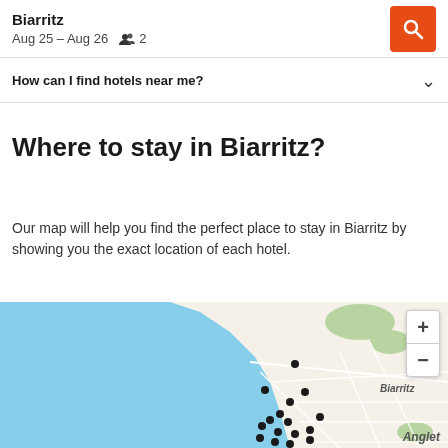Biarritz
Aug 25 – Aug 26   2
How can I find hotels near me?
Where to stay in Biarritz?
Our map will help you find the perfect place to stay in Biarritz by showing you the exact location of each hotel.
[Figure (map): Map of Biarritz showing hotel locations as black dots along the coastline, with zoom controls and Anglet label visible]